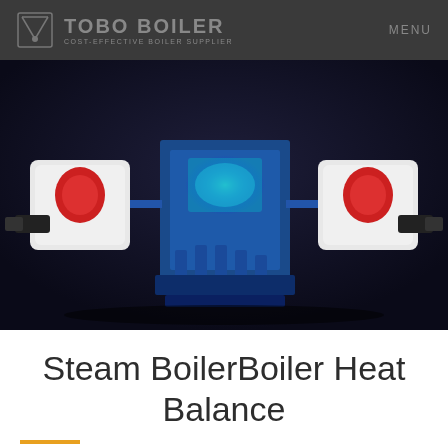TOBO BOILER | COST-EFFECTIVE BOILER SUPPLIER | MENU
[Figure (photo): Industrial steam boiler equipment rendered in 3D, showing blue structural frame with white and red components, displayed against a dark background]
Steam BoilerBoiler Heat Balance